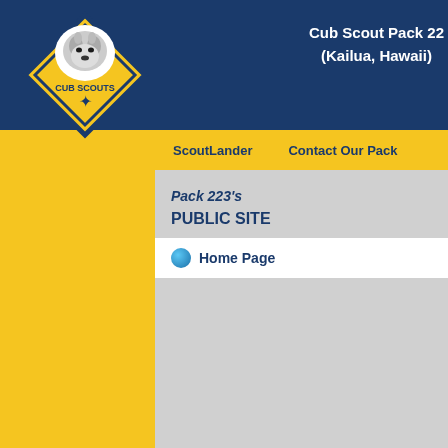Cub Scout Pack 22 (Kailua, Hawaii)
[Figure (logo): Cub Scouts diamond-shaped logo with wolf head and fleur-de-lis]
ScoutLander   Contact Our Pack
Pack 223's
PUBLIC SITE
Home Page
PAC
[Figure (logo): Cub Scout FUN logo with colorful block letters]